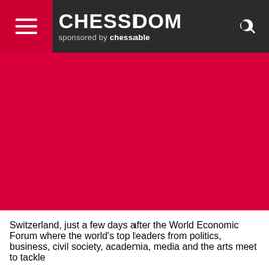CHESSDOM sponsored by chessable
[Figure (photo): Large crimson/red hero image area, mostly solid red background with no visible subject due to page crop.]
Switzerland, just a few days after the World Economic Forum where the world’s top leaders from politics, business, civil society, academia, media and the arts meet to tackle